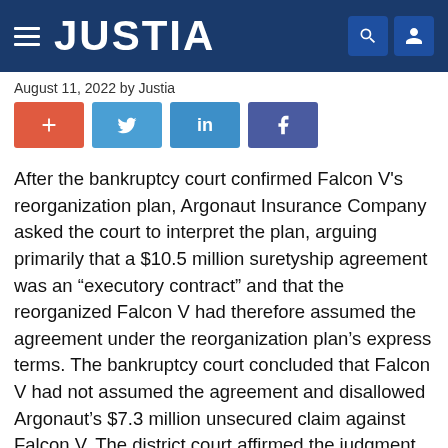JUSTIA
August 11, 2022 by Justia
[Figure (other): Social sharing buttons: Google+, Twitter, LinkedIn, Facebook]
After the bankruptcy court confirmed Falcon V’s reorganization plan, Argonaut Insurance Company asked the court to interpret the plan, arguing primarily that a $10.5 million suretyship agreement was an “executory contract” and that the reorganized Falcon V had therefore assumed the agreement under the reorganization plan’s express terms. The bankruptcy court concluded that Falcon V had not assumed the agreement and disallowed Argonaut’s $7.3 million unsecured claim against Falcon V. The district court affirmed the judgment of the bankruptcy court.On appeal, Argonaut primarily argues that the bankruptcy and district courts erred in determining that the Surety